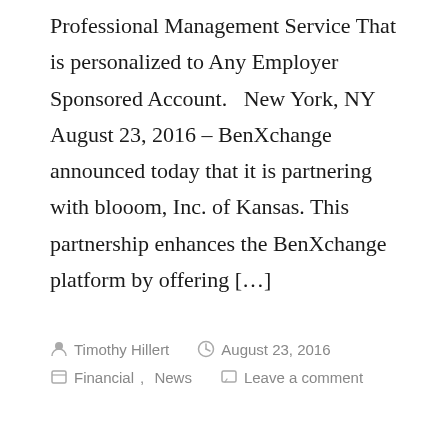Professional Management Service That is personalized to Any Employer Sponsored Account.   New York, NY August 23, 2016 – BenXchange announced today that it is partnering with blooom, Inc. of Kansas. This partnership enhances the BenXchange platform by offering […]
Timothy Hillert   August 23, 2016   Financial, News   Leave a comment